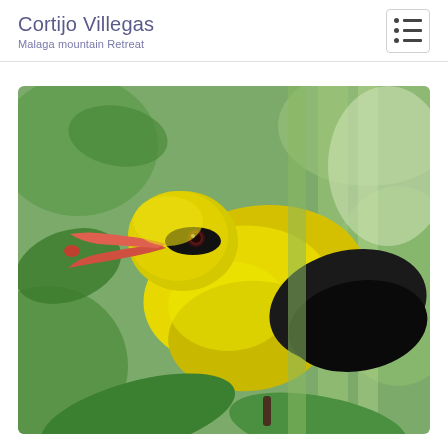Cortijo Villegas
Malaga mountain Retreat
[Figure (photo): Close-up photo of a Golden Oriole bird (yellow body with black wing and red-orange beak) perched among green leaves and branches]